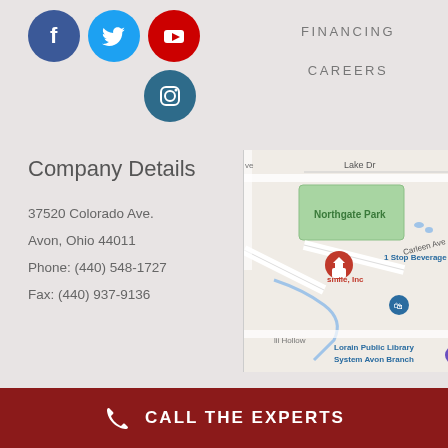[Figure (logo): Social media icons: Facebook (blue circle), Twitter (light blue circle), YouTube (red circle), Instagram (dark blue circle)]
FINANCING
CAREERS
Company Details
37520 Colorado Ave.
Avon, Ohio 44011
Phone: (440) 548-1727
Fax: (440) 937-9136
[Figure (map): Google map showing Northgate Park area in Avon, Ohio with a red pin marker for smile, Inc, a blue marker for 1 Stop Beverage Shop, and Lorain Public Library System Avon Branch visible. Streets include Lake Dr and Carleen Ave.]
CALL THE EXPERTS